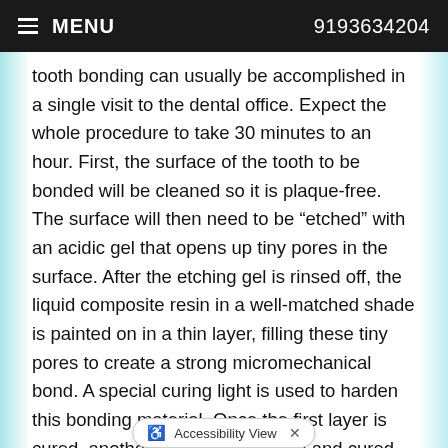MENU   9193634204
tooth bonding can usually be accomplished in a single visit to the dental office. Expect the whole procedure to take 30 minutes to an hour. First, the surface of the tooth to be bonded will be cleaned so it is plaque-free. The surface will then need to be “etched” with an acidic gel that opens up tiny pores in the surface. After the etching gel is rinsed off, the liquid composite resin in a well-matched shade is painted on in a thin layer, filling these tiny pores to create a strong micromechanical bond. A special curing light is used to harden this bonding material. Once the first layer is cured, another layer is painted on and cured. Layers can continue to be built up until the restoration has the necessary thickness. The bonding material is then shaped using a dental drill to give it just the right form. Once the tooth not only looks great but also feels good with your bite,